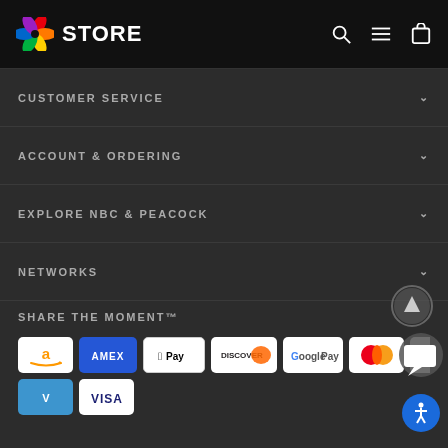[Figure (logo): NBC Peacock multicolor logo with STORE text in white on black header bar, with search, menu, and cart icons]
CUSTOMER SERVICE
ACCOUNT & ORDERING
EXPLORE NBC & PEACOCK
NETWORKS
SHARE THE MOMENT™
[Figure (other): Payment method icons: Amazon, Amex, Apple Pay, Discover, Google Pay, Mastercard, PayPal, Venmo, Visa, and accessibility/chat overlay buttons]